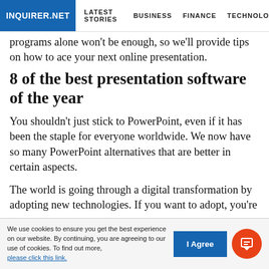INQUIRER.NET | LATEST STORIES | BUSINESS | FINANCE | TECHNOLO
programs alone won't be enough, so we'll provide tips on how to ace your next online presentation.
8 of the best presentation software of the year
You shouldn't just stick to PowerPoint, even if it has been the staple for everyone worldwide. We now have so many PowerPoint alternatives that are better in certain aspects.
The world is going through a digital transformation by adopting new technologies. If you want to adopt, you're
We use cookies to ensure you get the best experience on our website. By continuing, you are agreeing to our use of cookies. To find out more, please click this link.